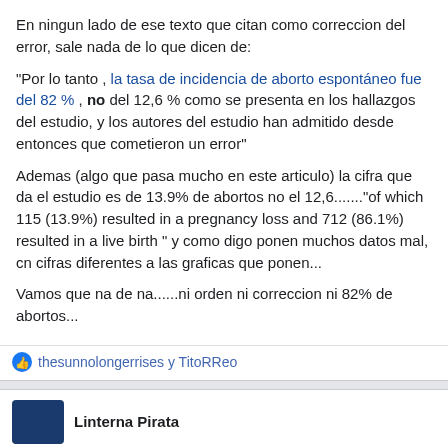En ningun lado de ese texto que citan como correccion del error, sale nada de lo que dicen de:
"Por lo tanto , la tasa de incidencia de aborto espontáneo fue del 82 % , no del 12,6 % como se presenta en los hallazgos del estudio, y los autores del estudio han admitido desde entonces que cometieron un error"
Ademas (algo que pasa mucho en este articulo) la cifra que da el estudio es de 13.9% de abortos no el 12,6.......“of which 115 (13.9%) resulted in a pregnancy loss and 712 (86.1%) resulted in a live birth " y como digo ponen muchos datos mal, cn cifras diferentes a las graficas que ponen...
Vamos que na de na......ni orden ni correccion ni 82% de abortos...
thesunnolongerrises y TitoRReo
Linterna Pirata